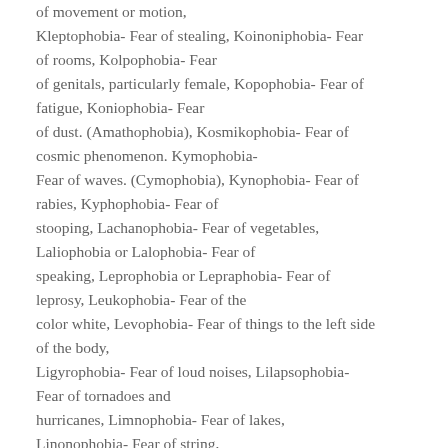of movement or motion, Kleptophobia- Fear of stealing, Koinoniphobia- Fear of rooms, Kolpophobia- Fear of genitals, particularly female, Kopophobia- Fear of fatigue, Koniophobia- Fear of dust. (Amathophobia), Kosmikophobia- Fear of cosmic phenomenon. Kymophobia- Fear of waves. (Cymophobia), Kynophobia- Fear of rabies, Kyphophobia- Fear of stooping, Lachanophobia- Fear of vegetables, Laliophobia or Lalophobia- Fear of speaking, Leprophobia or Lepraphobia- Fear of leprosy, Leukophobia- Fear of the color white, Levophobia- Fear of things to the left side of the body, Ligyrophobia- Fear of loud noises, Lilapsophobia- Fear of tornadoes and hurricanes, Limnophobia- Fear of lakes, Linonophobia- Fear of string,